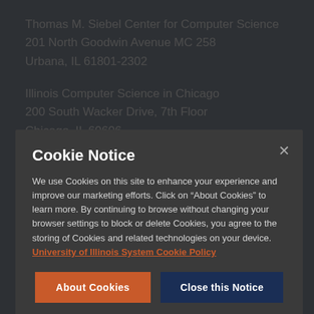Thomas M. Siebel Center for Computer Science
201 North Goodwin Avenue MC 258
Urbana, IL 61801-2302
Illinois Computer Science in Chicago
200 South Wacker Drive, 7th Floor
Chicago, IL 60606
The Grainger College of Engineering
Cookie Notice
We use Cookies on this site to enhance your experience and improve our marketing efforts. Click on “About Cookies” to learn more. By continuing to browse without changing your browser settings to block or delete Cookies, you agree to the storing of Cookies and related technologies on your device. University of Illinois System Cookie Policy